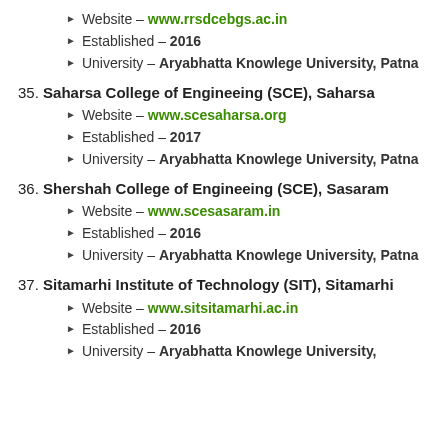Website – www.rrsdcebgs.ac.in
Established – 2016
University – Aryabhatta Knowlege University, Patna
35. Saharsa College of Engineeing (SCE), Saharsa
Website – www.scesaharsa.org
Established – 2017
University – Aryabhatta Knowlege University, Patna
36. Shershah College of Engineeing (SCE), Sasaram
Website – www.scesasaram.in
Established – 2016
University – Aryabhatta Knowlege University, Patna
37. Sitamarhi Institute of Technology (SIT), Sitamarhi
Website – www.sitsitamarhi.ac.in
Established – 2016